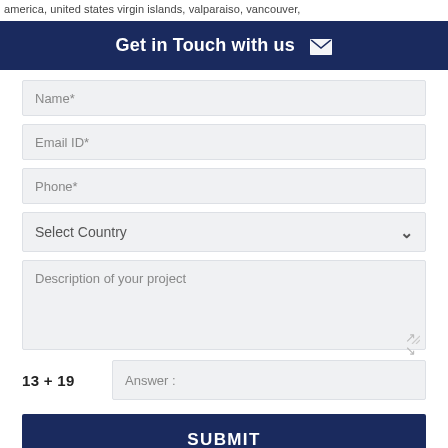america, united states virgin islands, valparaiso, vancouver,
Get in Touch with us ✉
Name*
Email ID*
Phone*
Select Country
Description of your project
13 + 19
Answer :
SUBMIT